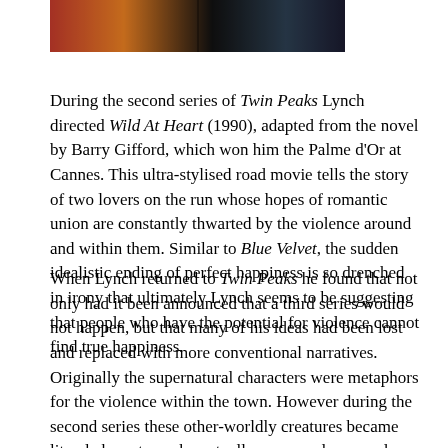[Figure (photo): Partial photograph strip at top of page showing orange, red, and dark tones suggesting a film still]
During the second series of Twin Peaks Lynch directed Wild At Heart (1990), adapted from the novel by Barry Gifford, which won him the Palme d'Or at Cannes. This ultra-stylised road movie tells the story of two lovers on the run whose hopes of romantic union are constantly thwarted by the violence around and within them. Similar to Blue Velvet, the sudden idealistic ending of perfect happiness is so drenched in irony that ultimately Lynch seems to be suggesting that people who have the potential for violence cannot find true happiness.
When Lynch returned to Twin Peaks he found that not only had it been announced that a third series would not happen, but that many of his ideas had been lost and replaced with more conventional narratives. Originally the supernatural characters were metaphors for the violence within the town. However during the second series these other-worldly creatures became literal characters who actually possessed men and were hence responsible for the sexually violent crimes that were committed. It steered towards the dangerous waters of